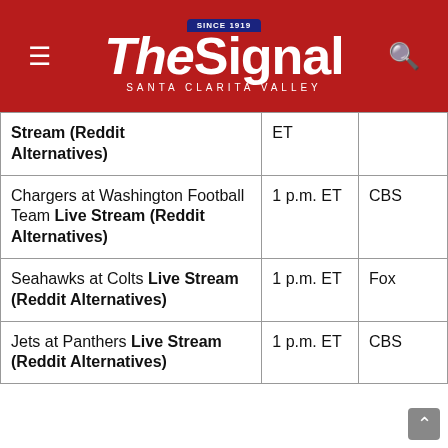The Signal — Santa Clarita Valley
| Game | Time | Channel |
| --- | --- | --- |
| Stream (Reddit Alternatives) | ET |  |
| Chargers at Washington Football Team Live Stream (Reddit Alternatives) | 1 p.m. ET | CBS |
| Seahawks at Colts Live Stream (Reddit Alternatives) | 1 p.m. ET | Fox |
| Jets at Panthers Live Stream (Reddit Alternatives) | 1 p.m. ET | CBS |